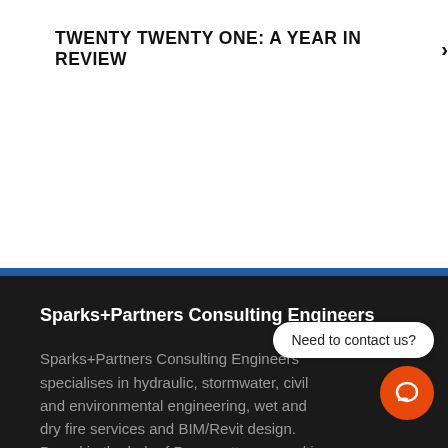TWENTY TWENTY ONE: A YEAR IN REVIEW >
Sparks+Partners Consulting Engineers
Sparks+Partners Consulting Engineers specialises in hydraulic, stormwater, civil and environmental engineering, wet and dry fire services and BIM/Revit design. Based in the hub of Parramatta, our multi discipline practice provides quality engineering design and solutions to the